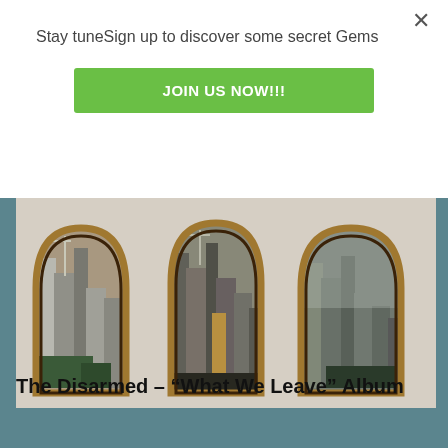Stay tuneSign up to discover some secret Gems
JOIN US NOW!!!
[Figure (photo): Triptych artwork showing three Gothic arch-shaped frames with gold/wooden borders, each containing black-and-white and sepia photographs of urban cityscapes with skyscrapers and construction cranes, arranged side by side against a light wall.]
The Disarmed – “What We Leave” Album